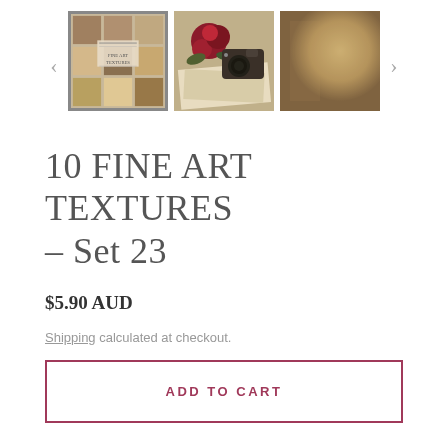[Figure (photo): Three product thumbnail images showing fine art textures. Left thumbnail (selected/bordered): grid of 9 brown/tan texture swatches with text overlay. Middle thumbnail: vintage camera with red roses on papers. Right thumbnail: plain warm brown/tan texture background. Navigation arrows on left and right.]
10 FINE ART TEXTURES - Set 23
$5.90 AUD
Shipping calculated at checkout.
ADD TO CART